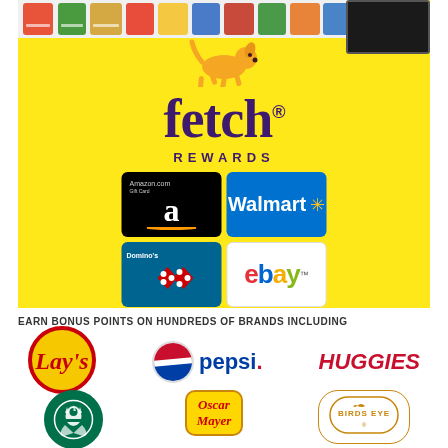[Figure (illustration): Fetch Rewards app promotional image with yellow background, orange dog logo, 'fetch REWARDS' branding, and gift card logos for Amazon, Walmart, Domino's, and eBay]
EARN BONUS POINTS ON HUNDREDS OF BRANDS INCLUDING
[Figure (logo): Lay's logo - red circular badge with script text]
[Figure (logo): Pepsi logo with globe and pepsi text]
[Figure (logo): Huggies logo in red italic bold text]
[Figure (logo): Starbucks green circular logo with label]
[Figure (logo): Oscar Mayer yellow box logo]
[Figure (logo): Birds Eye orange oval border logo]